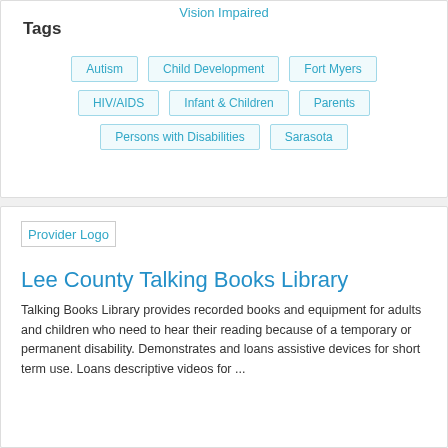Vision Impaired
Tags
Autism
Child Development
Fort Myers
HIV/AIDS
Infant & Children
Parents
Persons with Disabilities
Sarasota
[Figure (logo): Provider Logo placeholder image]
Lee County Talking Books Library
Talking Books Library provides recorded books and equipment for adults and children who need to hear their reading because of a temporary or permanent disability. Demonstrates and loans assistive devices for short term use. Loans descriptive videos for ...